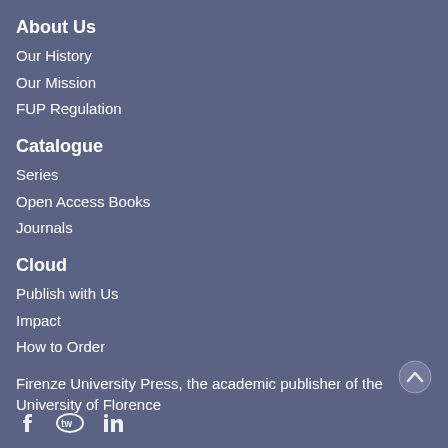About Us
Our History
Our Mission
FUP Regulation
Catalogue
Series
Open Access Books
Journals
Cloud
Publish with Us
Impact
How to Order
Firenze University Press, the academic publisher of the University of Florence